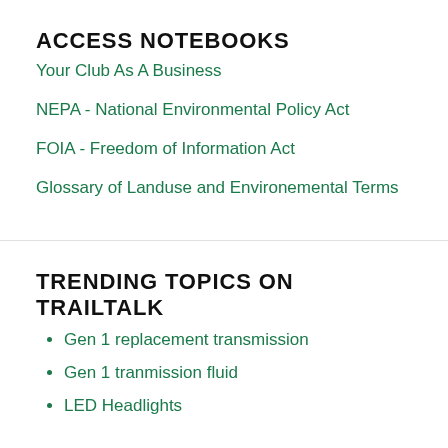ACCESS NOTEBOOKS
Your Club As A Business
NEPA - National Environmental Policy Act
FOIA - Freedom of Information Act
Glossary of Landuse and Environemental Terms
TRENDING TOPICS ON TRAILTALK
Gen 1 replacement transmission
Gen 1 tranmission fluid
LED Headlights